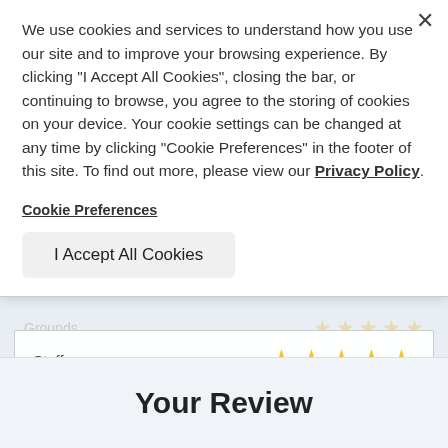We use cookies and services to understand how you use our site and to improve your browsing experience. By clicking "I Accept All Cookies", closing the bar, or continuing to browse, you agree to the storing of cookies on your device. Your cookie settings can be changed at any time by clicking "Cookie Preferences" in the footer of this site. To find out more, please view our Privacy Policy.
Cookie Preferences
I Accept All Cookies
Staff
Your Review